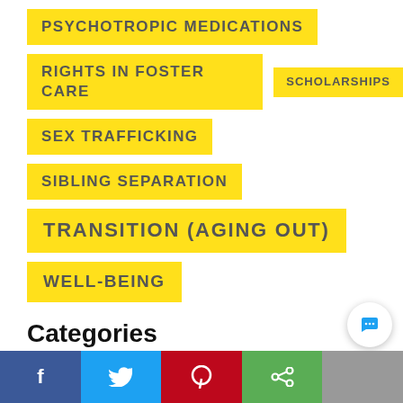PSYCHOTROPIC MEDICATIONS
RIGHTS IN FOSTER CARE
SCHOLARSHIPS
SEX TRAFFICKING
SIBLING SEPARATION
TRANSITION (AGING OUT)
WELL-BEING
Categories
Announcements (173)